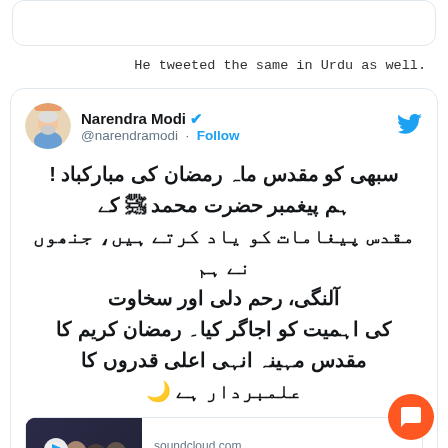He tweeted the same in Urdu as well.
[Figure (screenshot): Tweet from Narendra Modi (@narendramodi) with Urdu text about Ramzan greetings, including a SoundCloud media card for 'PM Extends Ramzan Greetings' from Mann Ki Baat.]